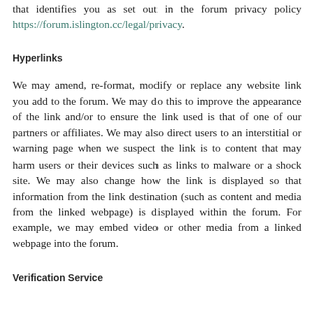that identifies you as set out in the forum privacy policy https://forum.islington.cc/legal/privacy.
Hyperlinks
We may amend, re-format, modify or replace any website link you add to the forum. We may do this to improve the appearance of the link and/or to ensure the link used is that of one of our partners or affiliates. We may also direct users to an interstitial or warning page when we suspect the link is to content that may harm users or their devices such as links to malware or a shock site. We may also change how the link is displayed so that information from the link destination (such as content and media from the linked webpage) is displayed within the forum. For example, we may embed video or other media from a linked webpage into the forum.
Verification Service